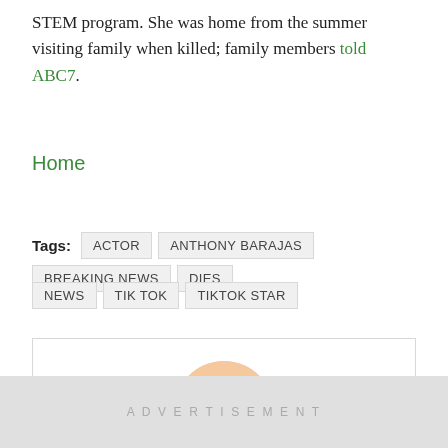STEM program. She was home from the summer visiting family when killed; family members told ABC7.
Home
Tags: ACTOR  ANTHONY BARAJAS  BREAKING NEWS  DIES  NEWS  TIK TOK  TIKTOK STAR
[Figure (photo): Circular avatar photo of a woman with braids, smiling, against a warm background.]
News Contributor
ADVERTISEMENT